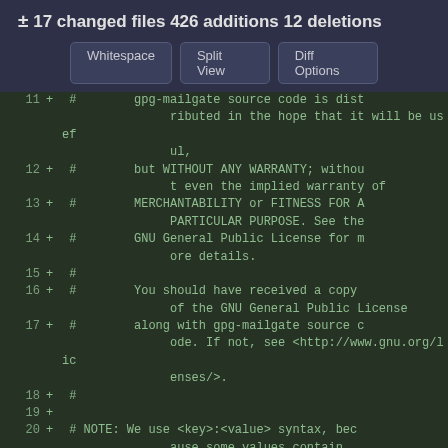± 17 changed files 426 additions 12 deletions
Whitespace | Split View | Diff Options
11 + #        gpg-mailgate source code is distributed in the hope that it will be useful,
12 + #        but WITHOUT ANY WARRANTY; without even the implied warranty of
13 + #        MERCHANTABILITY or FITNESS FOR A PARTICULAR PURPOSE. See the
14 + #        GNU General Public License for more details.
15 + #
16 + #        You should have received a copy of the GNU General Public License
17 + #        along with gpg-mailgate source code. If not, see <http://www.gnu.org/licenses/>.
18 + #
19 + 
20 + # NOTE: We use <key>:<value> syntax, because some values contain